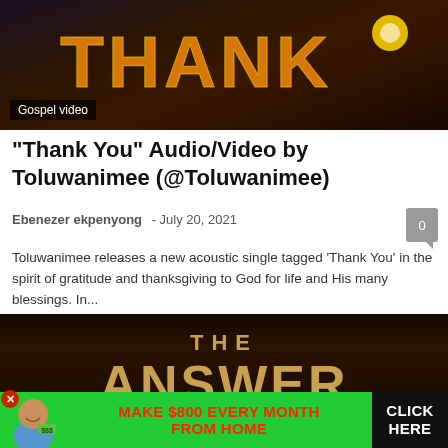[Figure (photo): Dark themed music video thumbnail showing 'THANK' text in large golden/orange letters on dark background]
Gospel video
“Thank You” Audio/Video by Toluwanimee (@Toluwanimee)
Ebenezer ekpenyong  -  July 20, 2021
Toluwanimee releases a new acoustic single tagged ‘Thank You’ in the spirit of gratitude and thanksgiving to God for life and His many blessings. In...
[Figure (photo): Dark album cover showing 'THE ANSWER' in large golden letters with 'TOLUWANIMEE' below on dark background]
[Figure (photo): Advertisement banner: Make $800 Every Month From Home - Click Here, with person holding money on green background]